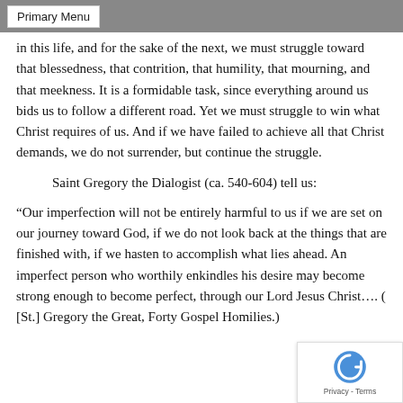Primary Menu
in this life, and for the sake of the next, we must struggle toward that blessedness, that contrition, that humility, that mourning, and that meekness. It is a formidable task, since everything around us bids us to follow a different road. Yet we must struggle to win what Christ requires of us. And if we have failed to achieve all that Christ demands, we do not surrender, but continue the struggle.
Saint Gregory the Dialogist (ca. 540-604) tell us:
“Our imperfection will not be entirely harmful to us if we are set on our journey toward God, if we do not look back at the things that are finished with, if we hasten to accomplish what lies ahead. An imperfect person who worthily enkindles his desire may become strong enough to become perfect, through our Lord Jesus Christ…. ( [St.] Gregory the Great, Forty Gospel Homilies.)